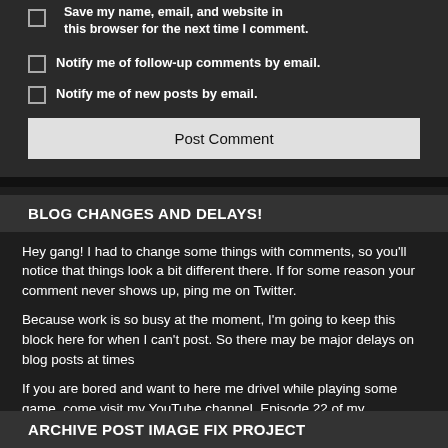Save my name, email, and website in this browser for the next time I comment.
Notify me of follow-up comments by email.
Notify me of new posts by email.
Post Comment
BLOG CHANGES AND DELAYS!
Hey gang! I had to change some things with comments, so you'll notice that things look a bit different there. If for some reason your comment never shows up, ping me on Twitter.
Because work is so busy at the moment, I'm going to keep this block here for when I can't post. So there may be major delays on blog posts at times
If you are bored and want to here me drivel while playing some game, come visit my YouTube channel. Episode 22 of my Borderlands 3 play thru is up on YouTube.  https://www.youtube.com/watch?v=EJsBkBVunI4
ARCHIVE POST IMAGE FIX PROJECT